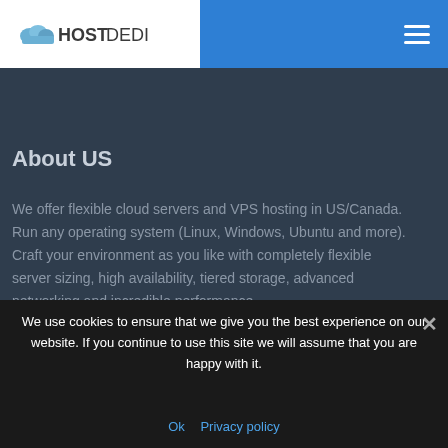[Figure (logo): HostDedi logo with cloud icon and text HOSTDEDI]
About US
We offer flexible cloud servers and VPS hosting in US/Canada. Run any operating system (Linux, Windows, Ubuntu and more). Craft your environment as you like with completely flexible server sizing, high availability, tiered storage, advanced networking and incredible performance.
We use cookies to ensure that we give you the best experience on our website. If you continue to use this site we will assume that you are happy with it.
Ok   Privacy policy